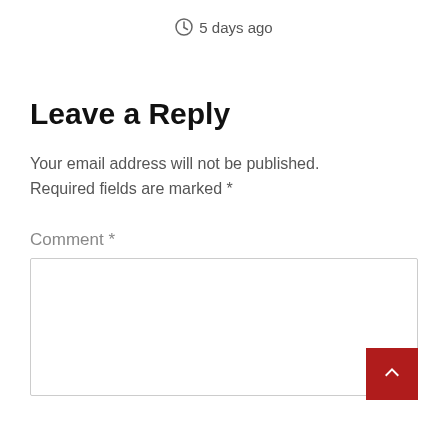5 days ago
Leave a Reply
Your email address will not be published. Required fields are marked *
Comment *